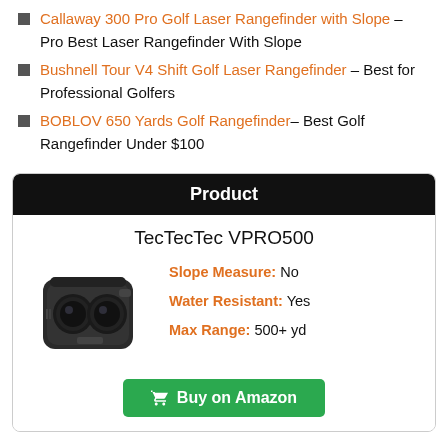Callaway 300 Pro Golf Laser Rangefinder with Slope – Pro Best Laser Rangefinder With Slope
Bushnell Tour V4 Shift Golf Laser Rangefinder – Best for Professional Golfers
BOBLOV 650 Yards Golf Rangefinder– Best Golf Rangefinder Under $100
| Product |
| --- |
| TecTecTec VPRO500 |
[Figure (photo): TecTecTec VPRO500 golf laser rangefinder device, black color, shown at angle]
Slope Measure: No
Water Resistant: Yes
Max Range: 500+ yd
Buy on Amazon